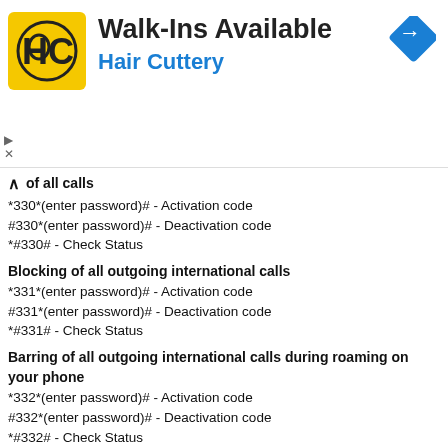[Figure (advertisement): Hair Cuttery advertisement banner with logo, Walk-Ins Available text, and navigation arrow icon]
of all calls
*330*(enter password)# - Activation code
#330*(enter password)# - Deactivation code
*#330# - Check Status
Blocking of all outgoing international calls
*331*(enter password)# - Activation code
#331*(enter password)# - Deactivation code
*#331# - Check Status
Barring of all outgoing international calls during roaming on your phone
*332*(enter password)# - Activation code
#332*(enter password)# - Deactivation code
*#332# - Check Status
How to block all outgoing calls
*333*(enter password)# - Activation code
#333*(enter password)# - Deactivation code
*#333# - Check Status
All incoming calls barring
*353*(enter password)# - Activation code
#353*(enter password)# - Deactivation code